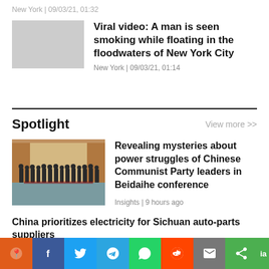New York | 09/03/21, 01:32
Viral video: A man is seen smoking while floating in the floodwaters of New York City
New York | 09/03/21, 01:14
Spotlight
View more >>
[Figure (photo): Group of men in dark suits standing in formation in a formal hall]
Revealing mysteries about power struggles of Chinese Communist Party leaders in Beidaihe conference
Insights | 9 hours ago
China prioritizes electricity for Sichuan auto-parts suppliers